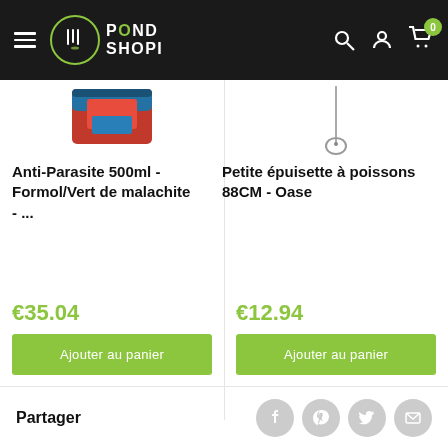[Figure (screenshot): PondShopi website header with logo, hamburger menu, search icon, account icon, and cart icon with badge showing 0]
[Figure (photo): Anti-Parasite 500ml product image showing red and blue container]
Anti-Parasite 500ml - Formol/Vert de malachite - ...
€35.04
Ajouter au panier
[Figure (photo): Petite épuisette à poissons 88CM product image showing a fish net on a stick]
Petite épuisette à poissons 88CM - Oase
€12.94
Ajouter au panier
Partager